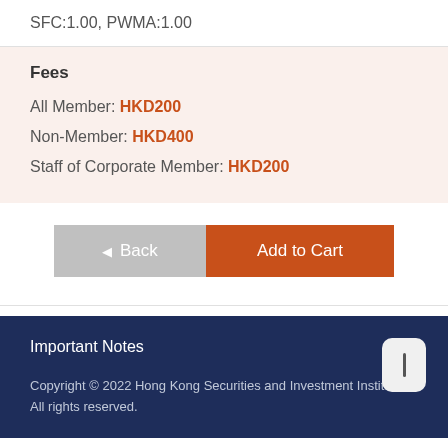SFC:1.00, PWMA:1.00
Fees
All Member: HKD200
Non-Member: HKD400
Staff of Corporate Member: HKD200
Back
Add to Cart
Important Notes
Copyright © 2022 Hong Kong Securities and Investment Institute. All rights reserved.